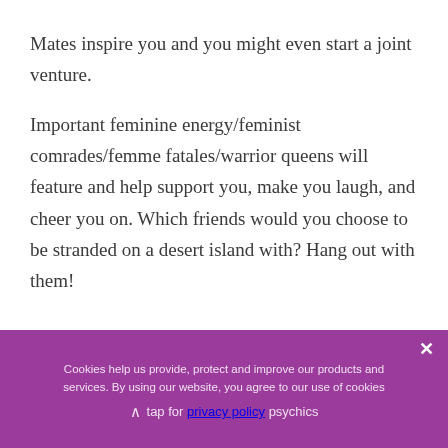Mates inspire you and you might even start a joint venture.
Important feminine energy/feminist comrades/femme fatales/warrior queens will feature and help support you, make you laugh, and cheer you on. Which friends would you choose to be stranded on a desert island with? Hang out with them!
Cookies help us provide, protect and improve our products and services. By using our website, you agree to our use of cookies privacy policy   tap for psychics